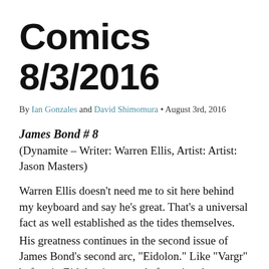Comics 8/3/2016
By Ian Gonzales and David Shimomura • August 3rd, 2016
James Bond # 8
(Dynamite – Writer: Warren Ellis, Artist: Artist: Jason Masters)
Warren Ellis doesn't need me to sit here behind my keyboard and say he's great. That's a universal fact as well established as the tides themselves.
His greatness continues in the second issue of James Bond's second arc, "Eidolon." Like "Vargr" before it, Eidolon is a tour de force in what a world-class writer can do with a